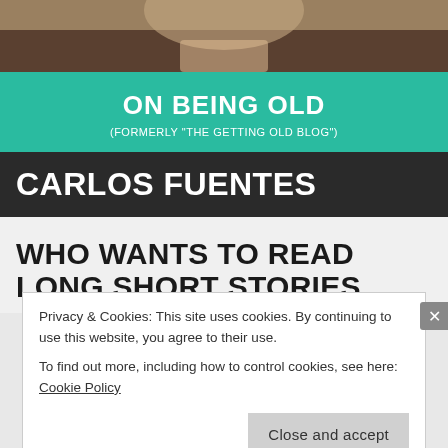[Figure (photo): Partial photo of a person, cropped at top of page, dark warm-toned background]
ON BEING OLD
(FORMERLY "THE GETTING OLD BLOG")
CARLOS FUENTES
WHO WANTS TO READ LONG SHORT STORIES
Privacy & Cookies: This site uses cookies. By continuing to use this website, you agree to their use.
To find out more, including how to control cookies, see here: Cookie Policy
Close and accept